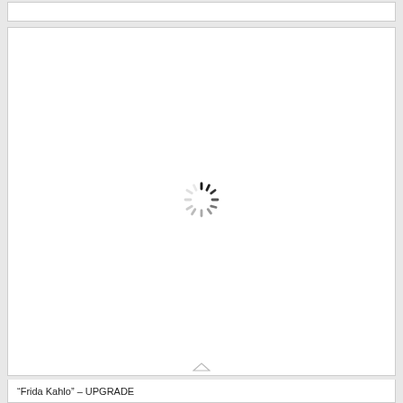[Figure (screenshot): A white rectangular loading area with a spinning loader icon in the center, representing a loading state in a web interface.]
“Frida Kahlo” – UPGRADE